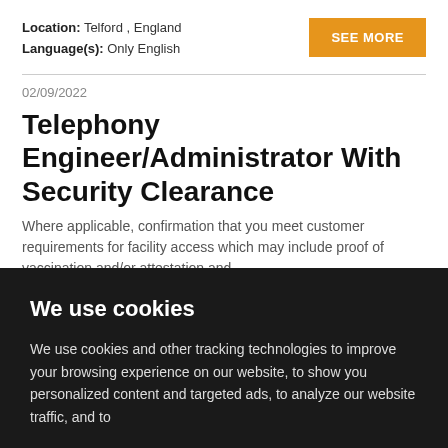Location: Telford , England
Language(s): Only English
SEE MORE
02/09/2022
Telephony Engineer/Administrator With Security Clearance
Where applicable, confirmation that you meet customer requirements for facility access which may include proof of vaccination and/or attestation and......
We use cookies
We use cookies and other tracking technologies to improve your browsing experience on our website, to show you personalized content and targeted ads, to analyze our website traffic, and to